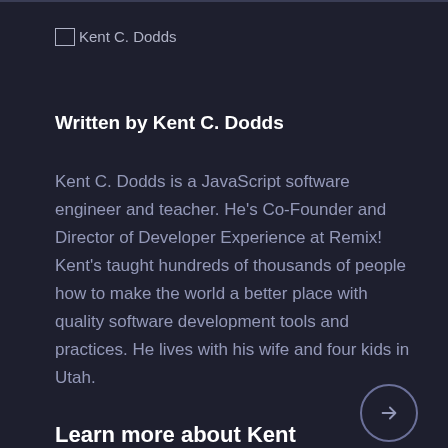[Figure (photo): Broken image placeholder for Kent C. Dodds profile photo with alt text 'Kent C. Dodds']
Written by Kent C. Dodds
Kent C. Dodds is a JavaScript software engineer and teacher. He's Co-Founder and Director of Developer Experience at Remix! Kent's taught hundreds of thousands of people how to make the world a better place with quality software development tools and practices. He lives with his wife and four kids in Utah.
Learn more about Kent